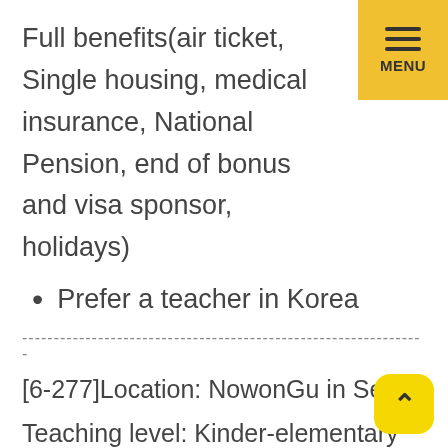Full benefits(air ticket, Single housing, medical insurance, National Pension, end of bonus and visa sponsor, holidays)
Prefer a teacher in Korea
----------------------------------------------------------------
[6-277]Location: NowonGu in Seoul
Teaching level: Kinder-elementary
Working hrs: 9am~6pm
Starting date: Late Jun~early July(1), Late